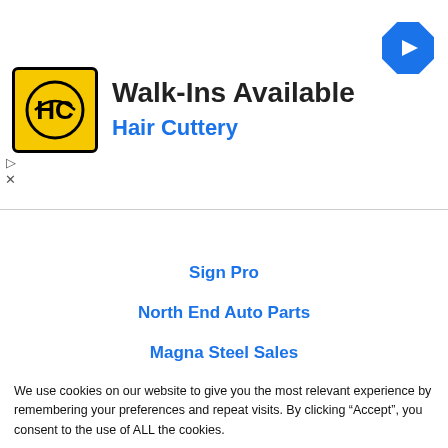[Figure (screenshot): Hair Cuttery advertisement banner with yellow/black HC logo, 'Walk-Ins Available' heading, 'Hair Cuttery' subheading in blue, and a blue navigation arrow icon in top right]
Sign Pro
North End Auto Parts
Magna Steel Sales
Coastal 181
JDV Productions
We use cookies on our website to give you the most relevant experience by remembering your preferences and repeat visits. By clicking “Accept”, you consent to the use of ALL the cookies.
Do not sell my personal information.
Cookie Settings | Accept